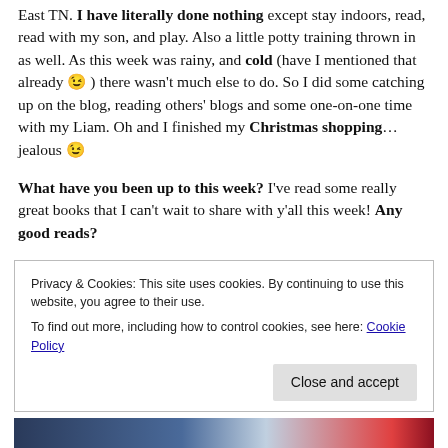East TN. I have literally done nothing except stay indoors, read, read with my son, and play. Also a little potty training thrown in as well. As this week was rainy, and cold (have I mentioned that already 😉 ) there wasn't much else to do. So I did some catching up on the blog, reading others' blogs and some one-on-one time with my Liam. Oh and I finished my Christmas shopping…jealous 😉
What have you been up to this week? I've read some really great books that I can't wait to share with y'all this week! Any good reads?
Privacy & Cookies: This site uses cookies. By continuing to use this website, you agree to their use. To find out more, including how to control cookies, see here: Cookie Policy
Close and accept
[Figure (photo): Bottom strip of a dark blue/teal image, partially visible]